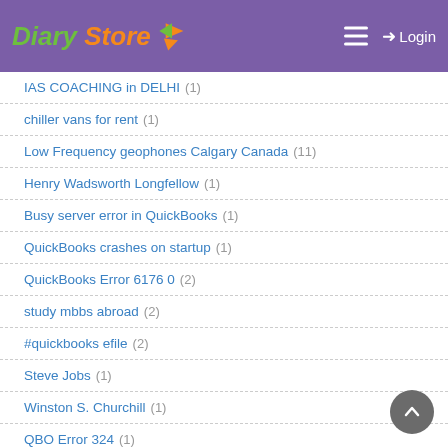Diary Store — Login
IAS COACHING in DELHI (1)
chiller vans for rent (1)
Low Frequency geophones Calgary Canada (11)
Henry Wadsworth Longfellow (1)
Busy server error in QuickBooks (1)
QuickBooks crashes on startup (1)
QuickBooks Error 6176 0 (2)
study mbbs abroad (2)
#quickbooks efile (2)
Steve Jobs (1)
Winston S. Churchill (1)
QBO Error 324 (1)